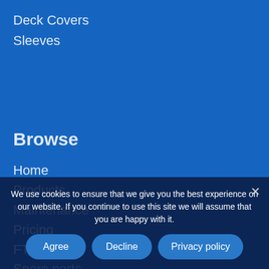Deck Covers
Sleeves
Browse
Home
Products
Maintenance
Pricing
FTP Server
Spare parts
Contact
About
Privacy Policy
Conditions of supply
Warra...
We use cookies to ensure that we give you the best experience on our website. If you continue to use this site we will assume that you are happy with it.